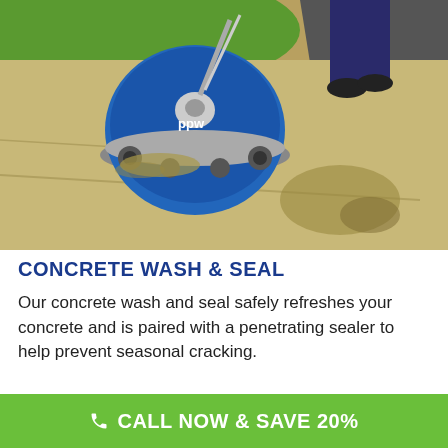[Figure (photo): A person using a blue circular surface cleaner (pressure washing machine) on a concrete sidewalk or driveway, cleaning sandy/dirty concrete surface. Green grass visible in background.]
CONCRETE WASH & SEAL
Our concrete wash and seal safely refreshes your concrete and is paired with a penetrating sealer to help prevent seasonal cracking.
CALL NOW & SAVE 20%